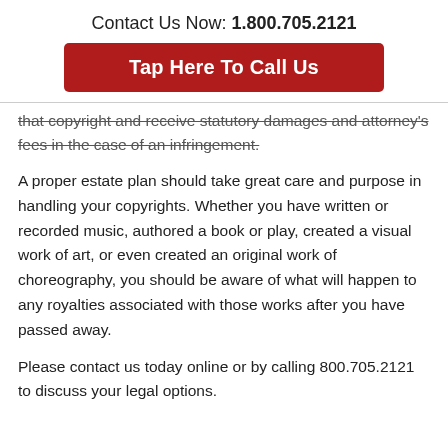Contact Us Now: 1.800.705.2121
[Figure (other): Red button with white text: Tap Here To Call Us]
that copyright and receive statutory damages and attorney's fees in the case of an infringement.
A proper estate plan should take great care and purpose in handling your copyrights. Whether you have written or recorded music, authored a book or play, created a visual work of art, or even created an original work of choreography, you should be aware of what will happen to any royalties associated with those works after you have passed away.
Please contact us today online or by calling 800.705.2121 to discuss your legal options.